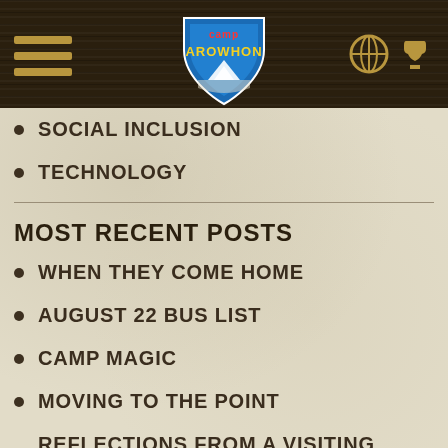Camp Arowhon navigation bar with hamburger menu and logo
SOCIAL INCLUSION
TECHNOLOGY
MOST RECENT POSTS
WHEN THEY COME HOME
AUGUST 22 BUS LIST
CAMP MAGIC
MOVING TO THE POINT
REFLECTIONS FROM A VISITING ALUM